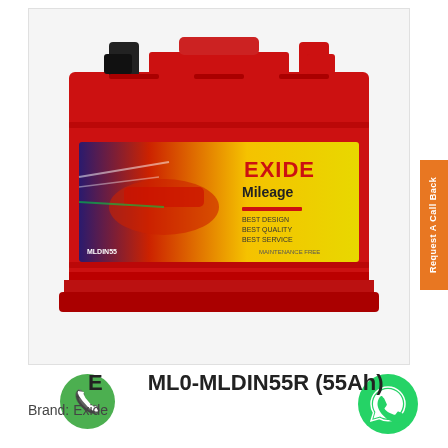[Figure (photo): Exide Mileage car battery (red casing) with product label showing 'EXIDE Mileage' branding, model MLDIN55, on white background]
Exide ML0-MLDIN55R (55Ah)
Brand: Exide